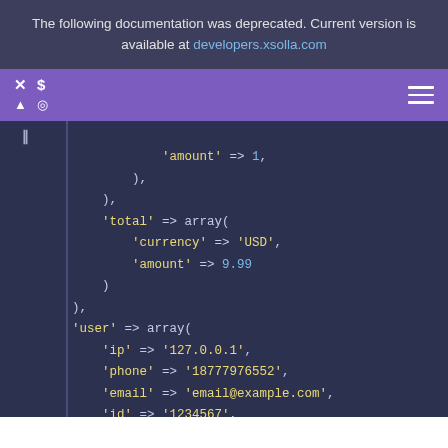The following documentation was deprecated. Current version is available at developers.xsolla.com
[Figure (screenshot): Navigation bar with Xsolla logo icons (X, S, triangle, O) on purple background and hamburger menu on right]
'amount' => 1,
        ),
    ),
    'total' => array(
        'currency' => 'USD',
        'amount' => 9.99
    )
),
'user' => array(
    'ip' => '127.0.0.1',
    'phone' => '18777976552',
    'email' => 'email@example.com',
    'id' => '1234567',
    'country' => 'US'